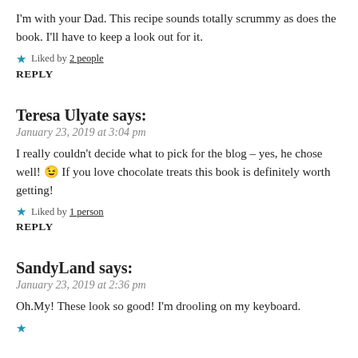I'm with your Dad. This recipe sounds totally scrummy as does the book. I'll have to keep a look out for it.
★ Liked by 2 people
REPLY
Teresa Ulyate says:
January 23, 2019 at 3:04 pm
I really couldn't decide what to pick for the blog – yes, he chose well! 😉 If you love chocolate treats this book is definitely worth getting!
★ Liked by 1 person
REPLY
SandyLand says:
January 23, 2019 at 2:36 pm
Oh.My! These look so good! I'm drooling on my keyboard.